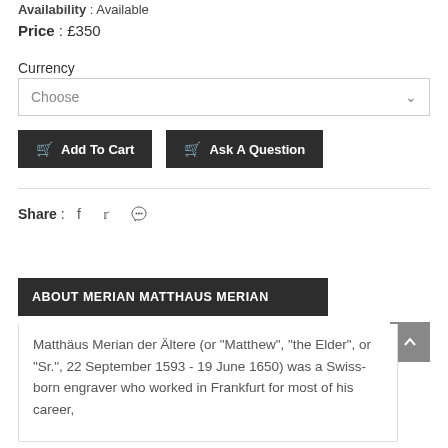Availability : Available
Price : £350
Currency
Choose
Add To Cart
Ask A Question
Share :
ABOUT MERIAN MATTHAUS MERIAN
Matthäus Merian der Ältere (or "Matthew", "the Elder", or "Sr.", 22 September 1593 - 19 June 1650) was a Swiss-born engraver who worked in Frankfurt for most of his career,